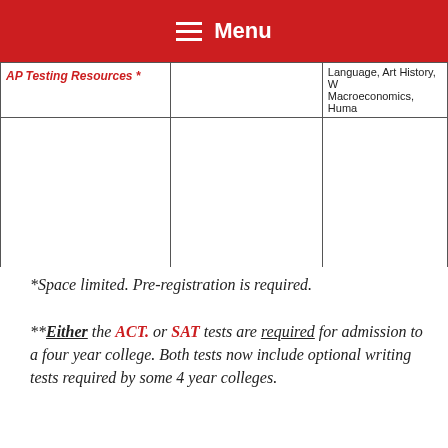Menu
| AP Testing Resources * |  | ...Language, Art History, W... Macroeconomics, Huma... |
| --- | --- | --- |
|  |  |  |
*Space limited.  Pre-registration is required.
**Either the ACT. or SAT tests are required for admission to a four year college.  Both tests now include optional writing tests required by some 4 year colleges.